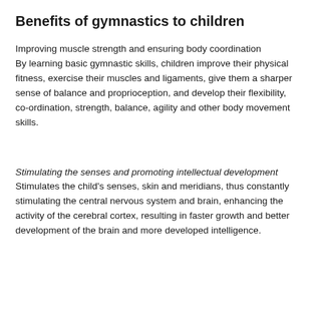Benefits of gymnastics to children
Improving muscle strength and ensuring body coordination
By learning basic gymnastic skills, children improve their physical fitness, exercise their muscles and ligaments, give them a sharper sense of balance and proprioception, and develop their flexibility, co-ordination, strength, balance, agility and other body movement skills.
Stimulating the senses and promoting intellectual development
Stimulates the child's senses, skin and meridians, thus constantly stimulating the central nervous system and brain, enhancing the activity of the cerebral cortex, resulting in faster growth and better development of the brain and more developed intelligence.